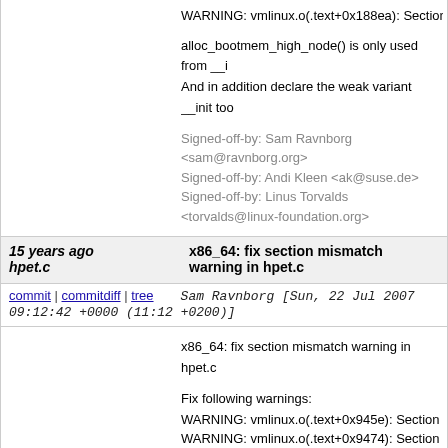WARNING: vmlinux.o(.text+0x188ea): Section mis
alloc_bootmem_high_node() is only used from __i
And in addition declare the weak variant __init too
Signed-off-by: Sam Ravnborg <sam@ravnborg.org>
Signed-off-by: Andi Kleen <ak@suse.de>
Signed-off-by: Linus Torvalds <torvalds@linux-foundation.org>
15 years ago hpet.c
x86_64: fix section mismatch warning in hpet.c
commit | commitdiff | tree
Sam Ravnborg [Sun, 22 Jul 2007 09:12:42 +0000 (11:12 +0200)]
x86_64: fix section mismatch warning in hpet.c

Fix following warnings:
WARNING: vmlinux.o(.text+0x945e): Section misn
WARNING: vmlinux.o(.text+0x9474): Section misn

hpet_arch_init is only used from __init context so n
Signed-off-by: Sam Ravnborg <sam@ravnborg.org>
Signed-off-by: Andi Kleen <ak@suse.de>
Signed-off-by: Linus Torvalds <torvalds@linux-foundation.org>